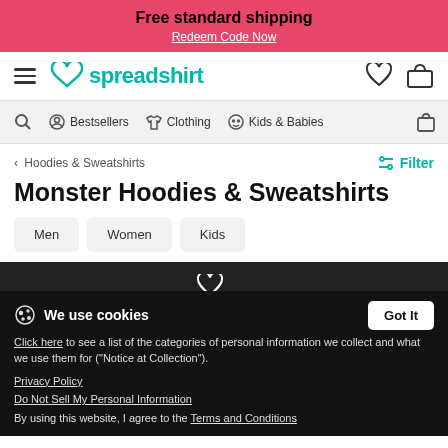Free standard shipping
Redeem Code Now
[Figure (logo): Spreadshirt logo with teal heart and text]
Bestsellers  Clothing  Kids & Babies
< Hoodies & Sweatshirts   Filter
Monster Hoodies & Sweatshirts
Men
Women
Kids
We use cookies
Click here to see a list of the categories of personal information we collect and what we use them for ("Notice at Collection").
Privacy Policy
Do Not Sell My Personal Information
By using this website, I agree to the Terms and Conditions